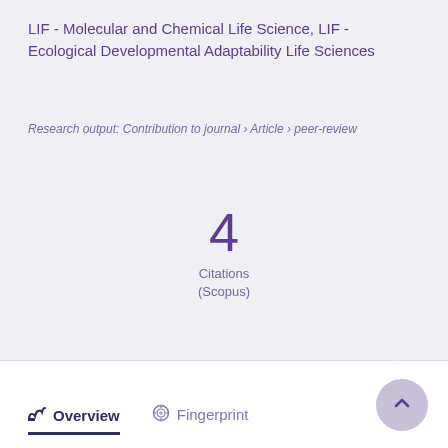LIF - Molecular and Chemical Life Science, LIF - Ecological Developmental Adaptability Life Sciences
Research output: Contribution to journal › Article › peer-review
4 Citations (Scopus)
Overview  Fingerprint